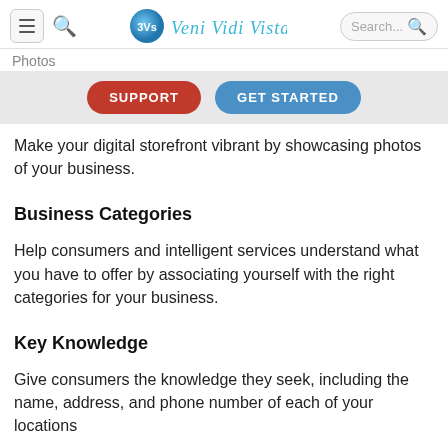Veni Vidi Vista — navigation header with search
Photos
[Figure (other): Navigation bar with red SUPPORT button and blue GET STARTED button]
Make your digital storefront vibrant by showcasing photos of your business.
Business Categories
Help consumers and intelligent services understand what you have to offer by associating yourself with the right categories for your business.
Key Knowledge
Give consumers the knowledge they seek, including the name, address, and phone number of each of your locations